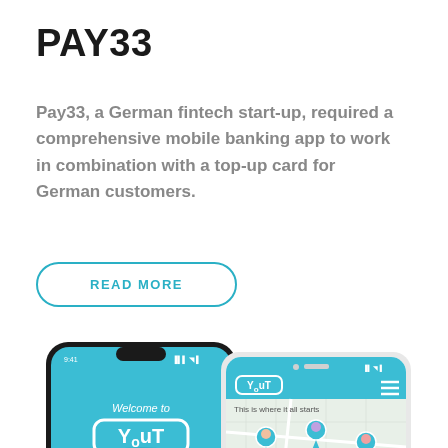PAY33
Pay33, a German fintech start-up, required a comprehensive mobile banking app to work in combination with a top-up card for German customers.
READ MORE
[Figure (screenshot): Two smartphones showing the YouT mobile banking app. The left phone (black frame) shows a blue welcome screen with 'Welcome to YouT' and illustrated people. The right phone (white frame) shows 'This is where it all starts' with a map view and the YouT logo.]